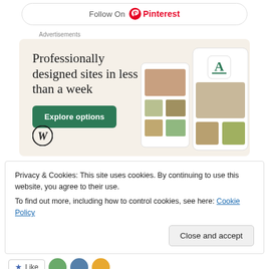[Figure (screenshot): Follow On Pinterest button/banner at top of page]
Advertisements
[Figure (screenshot): WordPress.com advertisement: 'Professionally designed sites in less than a week' with Explore options button and website mockup screenshots on beige background with WordPress logo]
Privacy & Cookies: This site uses cookies. By continuing to use this website, you agree to their use.
To find out more, including how to control cookies, see here: Cookie Policy
Close and accept